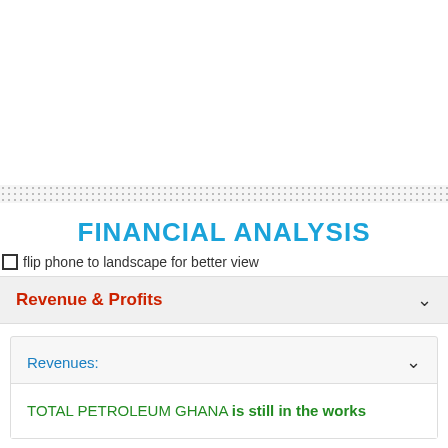FINANCIAL ANALYSIS
flip phone to landscape for better view
Revenue & Profits
Revenues:
TOTAL PETROLEUM GHANA is still in the works